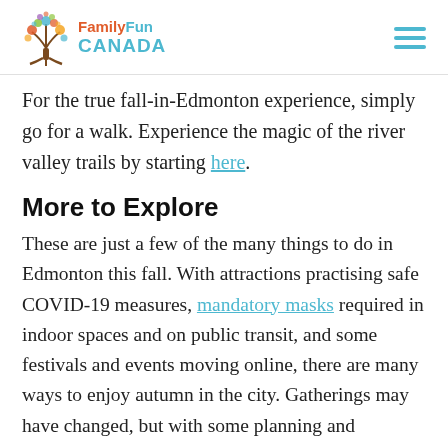FamilyFun CANADA
For the true fall-in-Edmonton experience, simply go for a walk. Experience the magic of the river valley trails by starting here.
More to Explore
These are just a few of the many things to do in Edmonton this fall. With attractions practising safe COVID-19 measures, mandatory masks required in indoor spaces and on public transit, and some festivals and events moving online, there are many ways to enjoy autumn in the city. Gatherings may have changed, but with some planning and consideration for your health and the health of